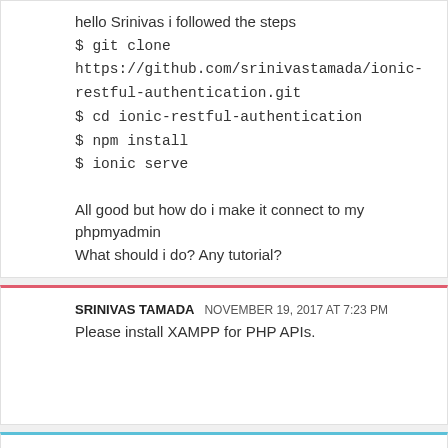hello Srinivas i followed the steps
$ git clone https://github.com/srinivastamada/ionic-restful-authentication.git
$ cd ionic-restful-authentication
$ npm install
$ ionic serve

All good but how do i make it connect to my phpmyadmin
What should i do? Any tutorial?
SRINIVAS TAMADA   NOVEMBER 19, 2017 AT 7:23 PM
Please install XAMPP for PHP APIs.
UNKNOWN   NOVEMBER 20, 2017 AT 8:35 AM
Sorry Srinivas i meant when you Update something it goes on your Database right? There is not connection to my...